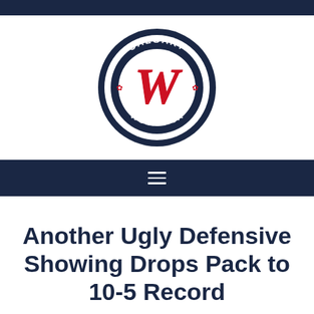[Figure (logo): Calgary Wolfpack circular logo with a stylized red 'W' on a white background, bordered by navy blue ring with 'CALGARY' at top and 'WOLFPACK' at bottom in white text, with small red maple leaf accents]
Navigation menu bar (hamburger icon)
Another Ugly Defensive Showing Drops Pack to 10-5 Record